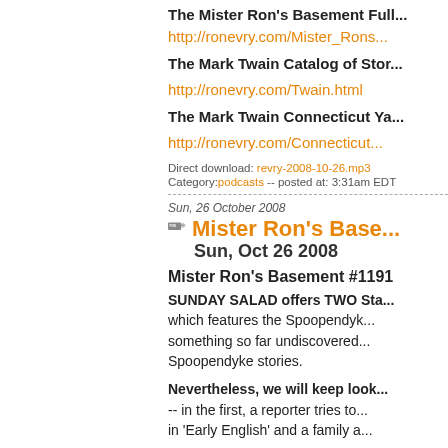The Mister Ron's Basement Full...
http://ronevry.com/Mister_Rons...
The Mark Twain Catalog of Stor...
http://ronevry.com/Twain.html
The Mark Twain Connecticut Ya...
http://ronevry.com/Connecticut...
Direct download: revry-2008-10-26.mp3
Category:podcasts -- posted at: 3:31am EDT
Sun, 26 October 2008
[Figure (other): Podcast badge icon with POD text and signal waves]
Mister Ron's Base...
Sun, Oct 26 2008
Mister Ron's Basement #1191
SUNDAY SALAD offers TWO Sta... which features the Spoopendyk... something so far undiscovered... Spoopendyke stories.
Nevertheless, we will keep look... -- in the first, a reporter tries to... in 'Early English' and a family a...